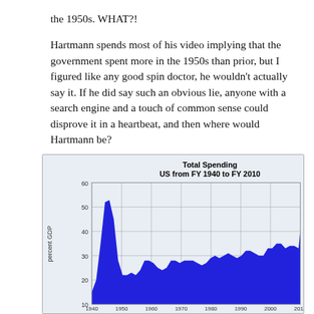the 1950s. WHAT?!
Hartmann spends most of his video implying that the government spent more in the 1950s than prior, but I figured like any good spin doctor, he wouldn't actually say it. If he did say such an obvious lie, anyone with a search engine and a touch of common sense could disprove it in a heartbeat, and then where would Hartmann be?
[Figure (area-chart): Total Spending US from FY 1940 to FY 2010]